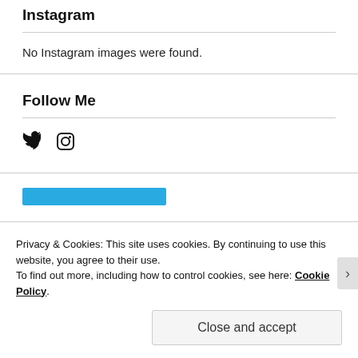Instagram
No Instagram images were found.
Follow Me
[Figure (screenshot): Social media icons: Twitter bird icon and Instagram camera icon]
[Figure (screenshot): Partially visible blue button at bottom of page]
Privacy & Cookies: This site uses cookies. By continuing to use this website, you agree to their use.
To find out more, including how to control cookies, see here: Cookie Policy
Close and accept